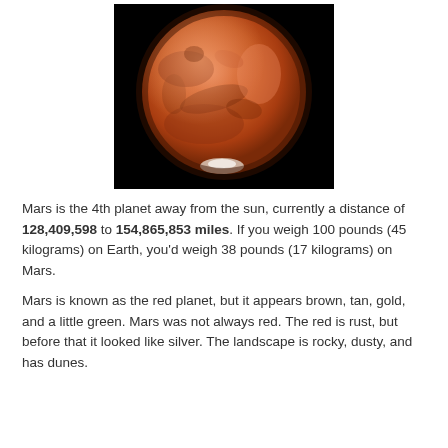[Figure (photo): Photograph of Mars showing the planet's reddish-orange surface against a black background. The planet's surface features include darker regions and a small white polar cap visible at the bottom.]
Mars is the 4th planet away from the sun, currently a distance of 128,409,598 to 154,865,853 miles. If you weigh 100 pounds (45 kilograms) on Earth, you'd weigh 38 pounds (17 kilograms) on Mars.
Mars is known as the red planet, but it appears brown, tan, gold, and a little green. Mars was not always red. The red is rust, but before that it looked like silver. The landscape is rocky, dusty, and has dunes.